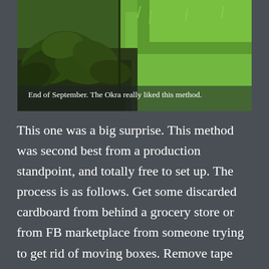[Figure (photo): Garden photo showing okra plants growing in dark soil on the left, with green lawn grass on the right. Taken at end of September. White caption text overlaid at bottom of image reads: End of September. The Okra really liked this method.]
End of September. The Okra really liked this method.
This one was a big surprise. This method was second best from a production standpoint, and totally free to set up. The process is as follows. Get some discarded cardboard from behind a grocery store or from FB marketplace from someone trying to get rid of moving boxes. Remove tape and labels and lay it down DIRECTLY on top of your existing lawn. On top of that, pile up whatever organic matter you have available. I used magnolia leaves, mulch, grass clippings, and whatever else I could find. Make it about 4–10" thick all the way around and